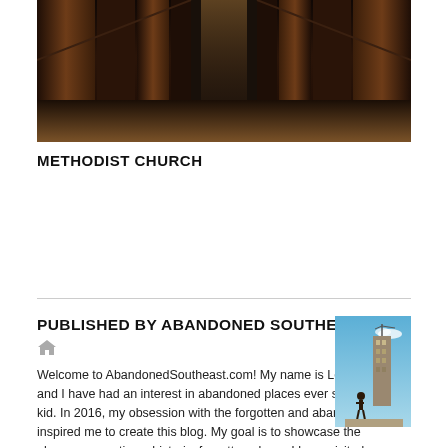[Figure (photo): Interior of an abandoned church showing dark wooden pews/pillars and a long aisle extending into the background]
METHODIST CHURCH
PUBLISHED BY ABANDONED SOUTHEAST
[Figure (photo): Author profile photo showing a person on a rooftop with a tall building in the background against a blue sky]
Welcome to AbandonedSoutheast.com! My name is Leland Kent and I have had an interest in abandoned places ever since I was a kid. In 2016, my obsession with the forgotten and abandoned inspired me to create this blog. My goal is to showcase the obscure, sometimes historic, forgotten places I have visited across the Southeast. I hope to preserve the past through documentation and photographs since many of these amazing places are often lost to neglect, demolition, or renovation. I released my first book, Abandoned Birmingham, in